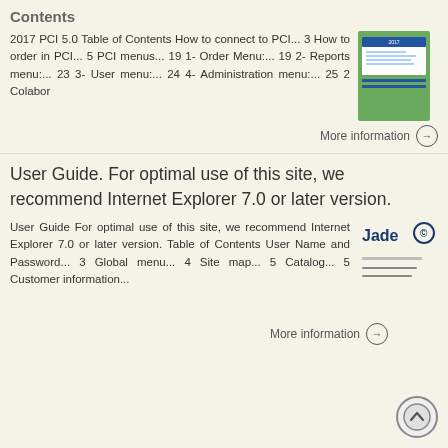Contents
2017 PCI 5.0 Table of Contents How to connect to PCI... 3 How to order in PCI... 5 PCI menus... 19 1- Order Menu:... 19 2- Reports menu:... 23 3- User menu:... 24 4- Administration menu:... 25 2 Colabor
[Figure (illustration): Thumbnail of 2017 PCI 5.0 document cover with green and blue design]
More information →
User Guide. For optimal use of this site, we recommend Internet Explorer 7.0 or later version.
User Guide For optimal use of this site, we recommend Internet Explorer 7.0 or later version. Table of Contents User Name and Password... 3 Global menu... 4 Site map... 5 Catalog... 5 Customer information...
[Figure (logo): Jade logo with circular trademark symbol]
More information →